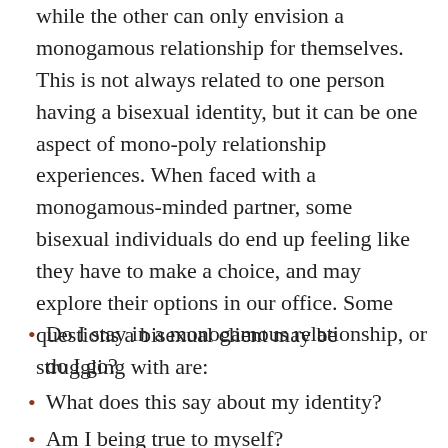while the other can only envision a monogamous relationship for themselves. This is not always related to one person having a bisexual identity, but it can be one aspect of mono-poly relationship experiences. When faced with a monogamous-minded partner, some bisexual individuals do end up feeling like they have to make a choice, and may explore their options in our office. Some questions a bisexual client may be struggling with are:
Do I stay in a monogamous relationship, or do I go?
What does this say about my identity?
Am I being true to myself?
What will my community think?
Will I be rejected from bisexual spaces or